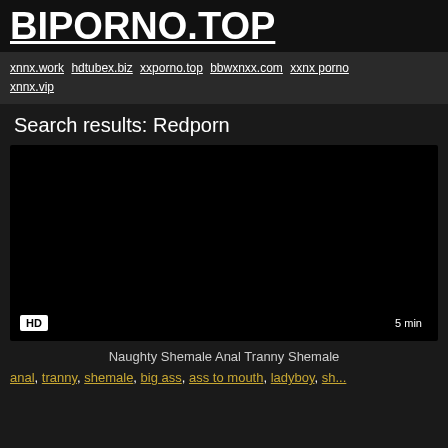BIPORNO.TOP
xnnx.work hdtubex.biz xxporno.top bbwxnxx.com xxnx porno xnnx.vip
Search results: Redporn
[Figure (screenshot): Dark video thumbnail with HD badge bottom-left and '5 min' duration badge bottom-right]
Naughty Shemale Anal Tranny Shemale
anal, tranny, shemale, big ass, ass to mouth, ladyboy, sh...